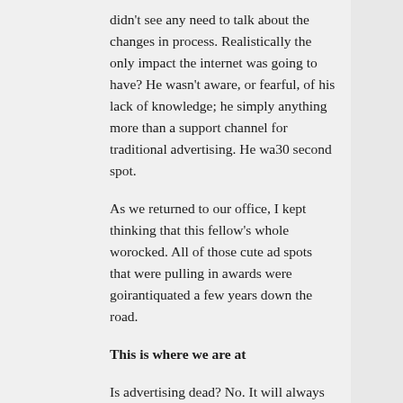didn't see any need to talk about the changes in process. Realistically the only impact the internet was going to have? He wasn't aware, or fearful, of his lack of knowledge; he simply didn't see the internet as anything more than a support channel for traditional advertising. He was only worried about his next 30 second spot.
As we returned to our office, I kept thinking that this fellow's whole world was about to get rocked. All of those cute ad spots that were pulling in awards were going to look hopelessly antiquated a few years down the road.
This is where we are at
Is advertising dead? No. It will always be here, but it's changing wildly. Traditional media brokers may well be shaken from their spots as this occurs. Just read this if you're interested in how (and why) this shift is occurring. I've heard it said that this is a great time for musicians, but a bad time for labels. It's not that music is facing death, but the (broken) system of delivering it certainly is.
My crystal ball has been in the shop for the past couple of weeks, and as a result my predictions are only moderately accurate, but let me hazard a guess on how this plays out.
First of all, I'm willing to place my bet that groups will, in time, use the internet as their primary (and sometimes only) method of connecting with clients. As the media noise increases, the public will increasingly block-out messages that don't directly connect with them. As a result, companies are going to have to start dialogues with people. These dialogues will serve to build brand value and loyalty.